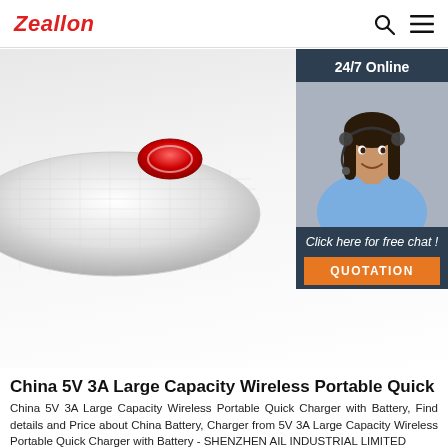Zeallon
[Figure (photo): Close-up photo of a white cylindrical wireless portable quick charger with a red circular button/logo on top, set against a light grey background. In the top-right corner there is a customer service chat widget showing '24/7 Online', a woman wearing a headset, text 'Click here for free chat!', and an orange 'QUOTATION' button.]
China 5V 3A Large Capacity Wireless Portable Quick
China 5V 3A Large Capacity Wireless Portable Quick Charger with Battery, Find details and Price about China Battery, Charger from 5V 3A Large Capacity Wireless Portable Quick Charger with Battery - SHENZHEN AIL INDUSTRIAL LIMITED